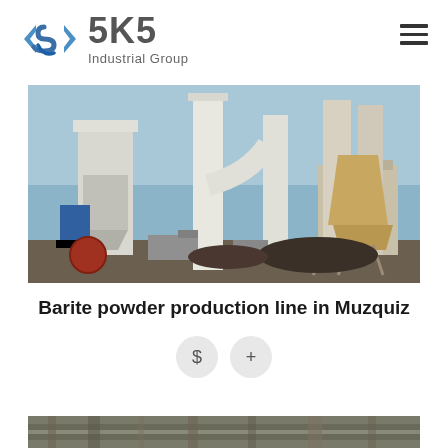[Figure (logo): SKS Industrial Group logo with stylized S icon in blue and grey text]
[Figure (photo): Industrial barite powder production facility in Muzquiz showing large white industrial mills, cyclone separators, and processing equipment against a blue sky]
Barite powder production line in Muzquiz
[Figure (other): Two circular icon buttons: a dollar sign button and a plus sign button]
[Figure (photo): Partial view of another industrial site at the bottom of the page]